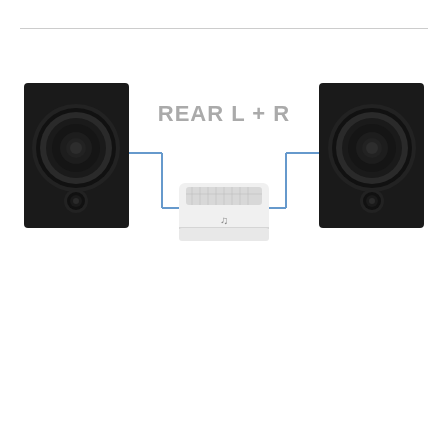[Figure (schematic): Audio system connection diagram showing two black bookshelf speakers (left and right) connected via blue bracket lines to a white amplifier/streamer unit in the center. Text label 'REAR L + R' in grey appears above the center unit, indicating rear left and right speaker connections.]